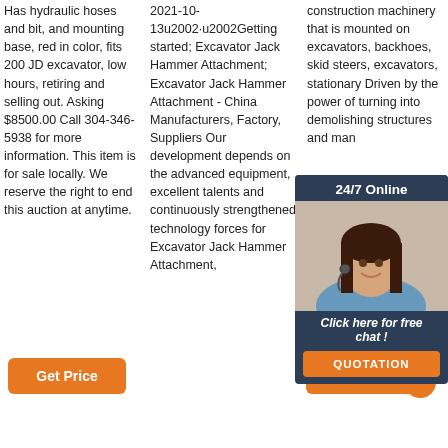Has hydraulic hoses and bit, and mounting base, red in color, fits 200 JD excavator, low hours, retiring and selling out. Asking $8500.00 Call 304-346-5938 for more information. This item is for sale locally. We reserve the right to end this auction at anytime.
2021-10-13u2002·u2002Getting started; Excavator Jack Hammer Attachment; Excavator Jack Hammer Attachment - China Manufacturers, Factory, Suppliers Our development depends on the advanced equipment, excellent talents and continuously strengthened technology forces for Excavator Jack Hammer Attachment,
construction machinery that is mounted on excavators, backhoes, skid steers, excavators, stationary Driven by the power of turning into demolishing structures and man
[Figure (photo): 24/7 Online chat widget with photo of woman with headset, 'Click here for free chat!' text, and orange QUOTATION button]
[Figure (other): Orange 'Get Price' button on left]
[Figure (other): Orange 'Get Price' button with TOP badge on right]